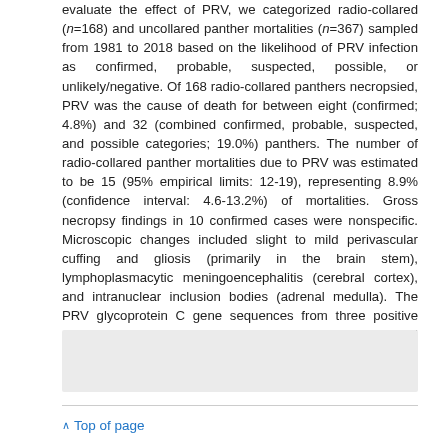evaluate the effect of PRV, we categorized radio-collared (n=168) and uncollared panther mortalities (n=367) sampled from 1981 to 2018 based on the likelihood of PRV infection as confirmed, probable, suspected, possible, or unlikely/negative. Of 168 radio-collared panthers necropsied, PRV was the cause of death for between eight (confirmed; 4.8%) and 32 (combined confirmed, probable, suspected, and possible categories; 19.0%) panthers. The number of radio-collared panther mortalities due to PRV was estimated to be 15 (95% empirical limits: 12-19), representing 8.9% (confidence interval: 4.6-13.2%) of mortalities. Gross necropsy findings in 10 confirmed cases were nonspecific. Microscopic changes included slight to mild perivascular cuffing and gliosis (primarily in the brain stem), lymphoplasmacytic meningoencephalitis (cerebral cortex), and intranuclear inclusion bodies (adrenal medulla). The PRV glycoprotein C gene sequences from three positive panthers grouped with the sequence from a Florida feral swine. Our findings indicate that PRV may be an important and underdiagnosed cause of death in Florida panthers.
[Figure (other): Gray shaded box, likely placeholder for image or table]
^ Top of page